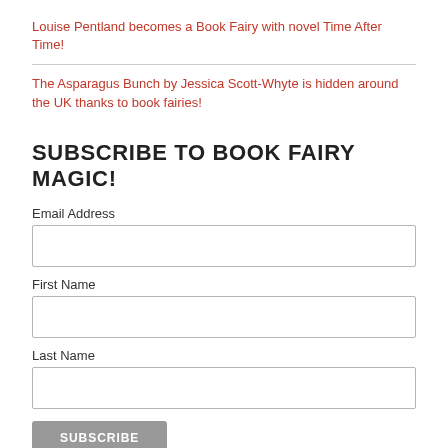Louise Pentland becomes a Book Fairy with novel Time After Time!
The Asparagus Bunch by Jessica Scott-Whyte is hidden around the UK thanks to book fairies!
SUBSCRIBE TO BOOK FAIRY MAGIC!
Email Address
First Name
Last Name
SUBSCRIBE